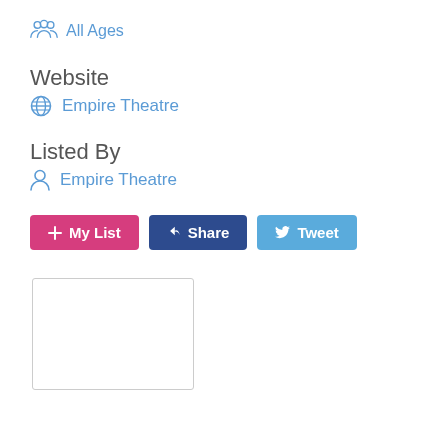All Ages
Website
Empire Theatre
Listed By
Empire Theatre
+ My List   Share   Tweet
[Figure (other): Empty placeholder box (image not loaded)]